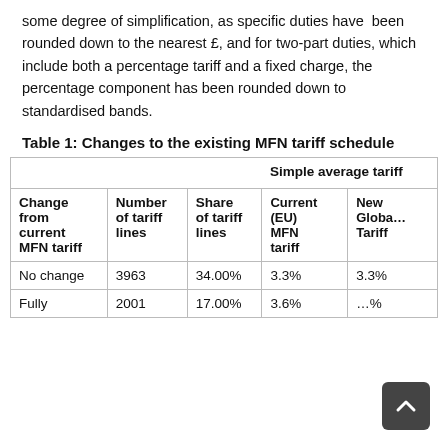some degree of simplification, as specific duties have been rounded down to the nearest £, and for two-part duties, which include both a percentage tariff and a fixed charge, the percentage component has been rounded down to standardised bands.
Table 1: Changes to the existing MFN tariff schedule
| Change from current MFN tariff | Number of tariff lines | Share of tariff lines | Simple average tariff – Current (EU) MFN tariff | Simple average tariff – New Global Tariff |
| --- | --- | --- | --- | --- |
| No change | 3963 | 34.00% | 3.3% | 3.3% |
| Fully | 2001 | 17.00% | 3.6% |  |